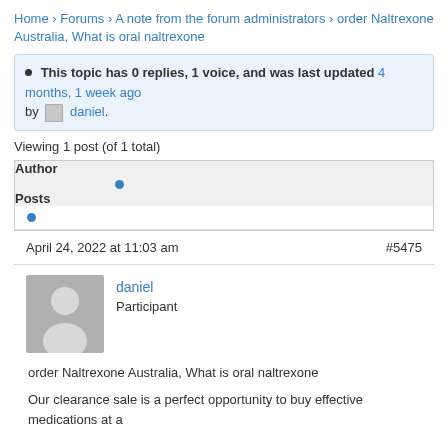Home › Forums › A note from the forum administrators › order Naltrexone Australia, What is oral naltrexone
This topic has 0 replies, 1 voice, and was last updated 4 months, 1 week ago by daniel.
Viewing 1 post (of 1 total)
| Author |  | Posts |
| --- | --- | --- |
| • |  |  |
April 24, 2022 at 11:03 am    #5475
daniel
Participant
order Naltrexone Australia, What is oral naltrexone
Our clearance sale is a perfect opportunity to buy effective medications at a